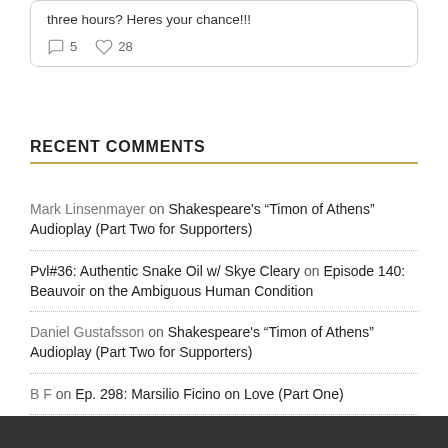three hours? Heres your chance!!!
5  28
RECENT COMMENTS
Mark Linsenmayer on Shakespeare's “Timon of Athens” Audioplay (Part Two for Supporters)
Pvl#36: Authentic Snake Oil w/ Skye Cleary on Episode 140: Beauvoir on the Ambiguous Human Condition
Daniel Gustafsson on Shakespeare's “Timon of Athens” Audioplay (Part Two for Supporters)
B F on Ep. 298: Marsilio Ficino on Love (Part One)
Kris on Combat & Classics Ep. 58 Homer’s “Iliad” Book 1